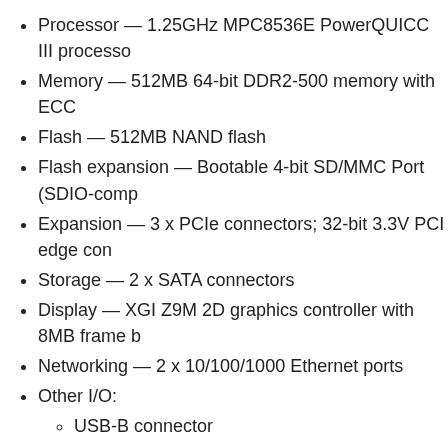Processor — 1.25GHz MPC8536E PowerQUICC III processo
Memory — 512MB 64-bit DDR2-500 memory with ECC
Flash — 512MB NAND flash
Flash expansion — Bootable 4-bit SD/MMC Port (SDIO-comp
Expansion — 3 x PCIe connectors; 32-bit 3.3V PCI edge con
Storage — 2 x SATA connectors
Display — XGI Z9M 2D graphics controller with 8MB frame b
Networking — 2 x 10/100/1000 Ethernet ports
Other I/O:
USB-B connector
4 x USB 2.0 host ports
2 x serial ports
I2C port
8 x GPIO lines
4 x PCI interrupts
Standard 16-pin JTAG
Headphone and Mic interface
Format — Flex/MicroATX
The MPC8536-ADK is preconfigured with an Android 1.5 runtime, th demonstration applications, enabling design engineers to evaluate